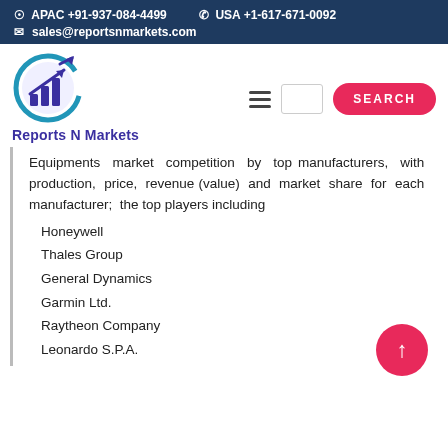APAC +91-937-084-4499   USA +1-617-671-0092   sales@reportsnmarkets.com
[Figure (logo): Reports N Markets logo with bar chart and arrow icon, circular badge in blue/purple, text 'Reports N Markets' below]
Equipments market competition by top manufacturers, with production, price, revenue (value) and market share for each manufacturer; the top players including
Honeywell
Thales Group
General Dynamics
Garmin Ltd.
Raytheon Company
Leonardo S.P.A.